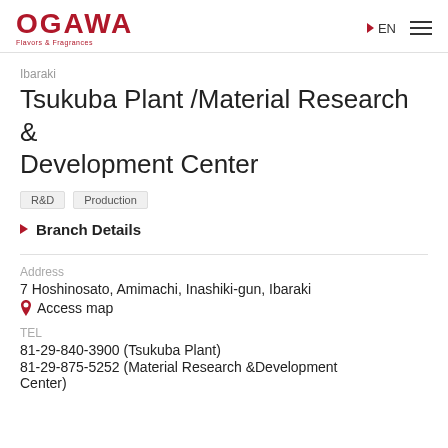OGAWA Flavors & Fragrances | EN
Ibaraki
Tsukuba Plant /Material Research & Development Center
R&D   Production
Branch Details
Address
7 Hoshinosato, Amimachi, Inashiki-gun, Ibaraki
Access map
TEL
81-29-840-3900 (Tsukuba Plant)
81-29-875-5252 (Material Research &Development Center)